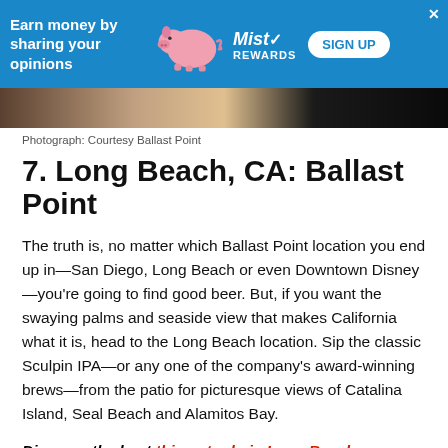[Figure (infographic): Blue advertisement banner for Mist Rewards: 'Earn money by sharing your opinions' with pink pig illustration and white SIGN UP button]
[Figure (photo): Partial photo strip showing indoor scene with people walking on wood floor]
Photograph: Courtesy Ballast Point
7. Long Beach, CA: Ballast Point
The truth is, no matter which Ballast Point location you end up in—San Diego, Long Beach or even Downtown Disney—you're going to find good beer. But, if you want the swaying palms and seaside view that makes California what it is, head to the Long Beach location. Sip the classic Sculpin IPA—or any one of the company's award-winning brews—from the patio for picturesque views of Catalina Island, Seal Beach and Alamitos Bay.
Discover the best things to do in Long Beach
[Figure (other): Partial bottom box/image with border, cut off at bottom of page]